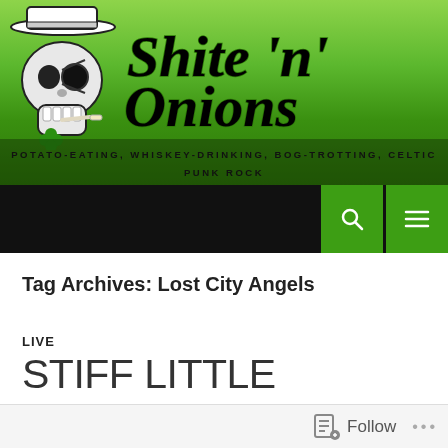Shite 'n' Onions — POTATO-EATING, WHISKEY-DRINKING, BOG-TROTTING, CELTIC PUNK ROCK
Tag Archives: Lost City Angels
LIVE
STIFF LITTLE FINGERS AND LOST CITY ANGELS – THE PARADISE, BOSTON